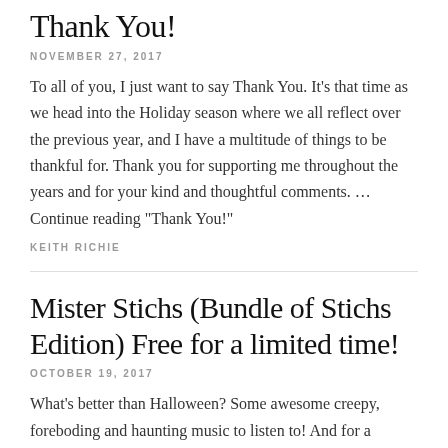Thank You!
NOVEMBER 27, 2017
To all of you, I just want to say Thank You. It's that time as we head into the Holiday season where we all reflect over the previous year, and I have a multitude of things to be thankful for. Thank you for supporting me throughout the years and for your kind and thoughtful comments. … Continue reading "Thank You!"
KEITH RICHIE
Mister Stichs (Bundle of Stichs Edition) Free for a limited time!
OCTOBER 19, 2017
What's better than Halloween? Some awesome creepy, foreboding and haunting music to listen to!  And for a limited time, you can get a bundle Halloween...